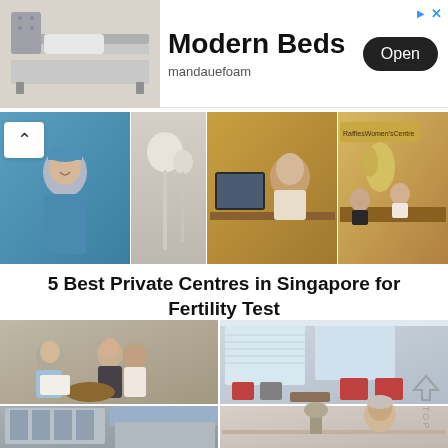[Figure (screenshot): Advertisement banner for Modern Beds by mandauefoam with an Open button]
[Figure (photo): Collage of three images: medical professional in blue scrubs, medical equipment/tools, and a doctor seated at desk; plus Raffles Women's Centre reception area with staff and clients]
5 Best Private Centres in Singapore for Fertility Test
[Figure (photo): Collage of four images showing medical consultation rooms, waiting areas and clinic interiors related to fertility centres in Singapore]